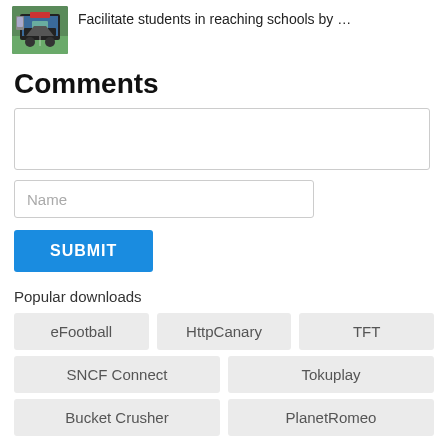[Figure (screenshot): Thumbnail image of a bus driving game/app showing first-person view with dashboard and road]
Facilitate students in reaching schools by …
Comments
[Comment textarea input field]
Name [input field]
SUBMIT
Popular downloads
eFootball
HttpCanary
TFT
SNCF Connect
Tokuplay
Bucket Crusher
PlanetRomeo